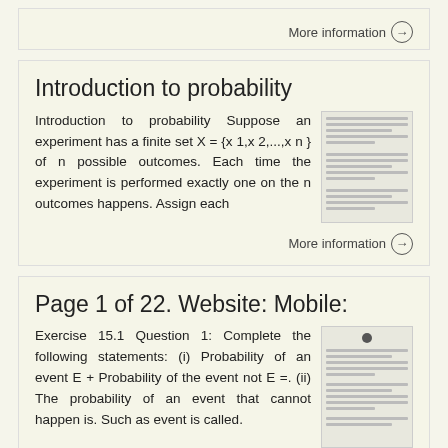More information →
Introduction to probability
Introduction to probability Suppose an experiment has a finite set X = {x 1,x 2,...,x n } of n possible outcomes. Each time the experiment is performed exactly one on the n outcomes happens. Assign each
[Figure (other): Thumbnail preview of a document page about introduction to probability]
More information →
Page 1 of 22. Website: Mobile:
Exercise 15.1 Question 1: Complete the following statements: (i) Probability of an event E + Probability of the event not E =. (ii) The probability of an event that cannot happen is. Such as event is called.
[Figure (other): Thumbnail preview of a document page about probability exercises]
More information →